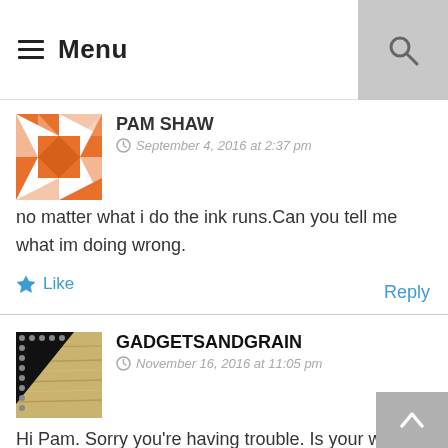Menu
PAM SHAW
September 4, 2016 at 2:37 pm
no matter what i do the ink runs.Can you tell me what im doing wrong.
Like
Reply
GADGETSANDGRAIN
November 16, 2016 at 11:05 pm
Hi Pam. Sorry you're having trouble. Is your wood unfinished? If it already has a coast of finish on it, that could prevent it from absorbing the ink. Or do you mean that your